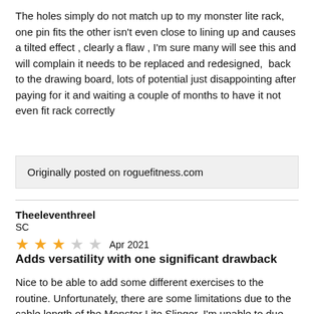The holes simply do not match up to my monster lite rack, one pin fits the other isn't even close to lining up and causes a tilted effect , clearly a flaw , I'm sure many will see this and will complain it needs to be replaced and redesigned,  back to the drawing board, lots of potential just disappointing after paying for it and waiting a couple of months to have it not even fit rack correctly
Originally posted on roguefitness.com
Theeleventhreel
SC
★★★☆☆  Apr 2021
Adds versatility with one significant drawback
Nice to be able to add some different exercises to the routine. Unfortunately, there are some limitations due to the cable length of the Monster Lite Slinger. I'm unable to due cable lateral raises past about 45 degrees. This is using the plate load system so the weight